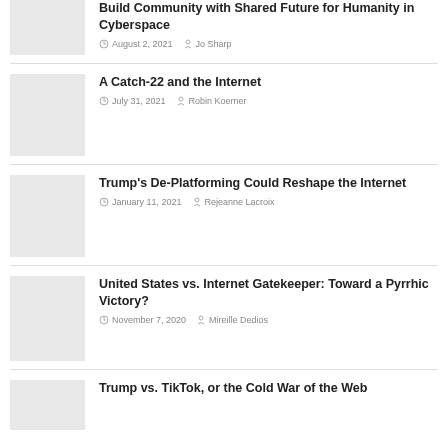Build Community with Shared Future for Humanity in Cyberspace
August 2, 2021  Jo Sharp
A Catch-22 and the Internet
July 31, 2021  Robin Koerner
Trump's De-Platforming Could Reshape the Internet
January 11, 2021  Rejeanne Lacroix
United States vs. Internet Gatekeeper: Toward a Pyrrhic Victory?
November 7, 2020  Mireille Dedios
Trump vs. TikTok, or the Cold War of the Web